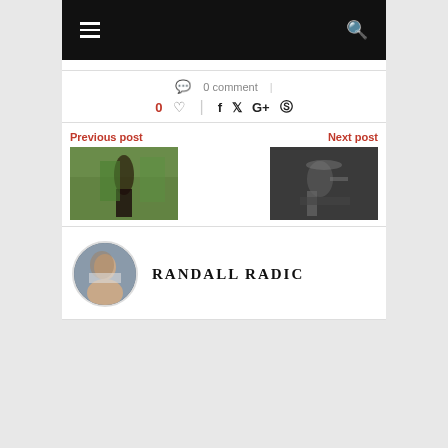Navigation bar with hamburger menu and search icon
0 comment
0 ♥  |  f  t  G+  ⊕
Previous post
Next post
[Figure (photo): Previous post thumbnail: woman in black top standing outdoors in green setting]
[Figure (photo): Next post thumbnail: black and white photo of musician playing guitar on stage]
[Figure (photo): Circular avatar photo of Randall Radic]
RANDALL RADIC